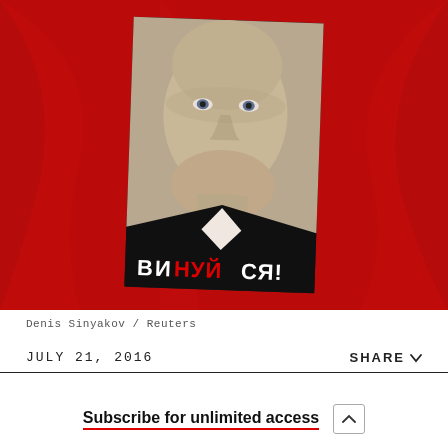[Figure (photo): Photograph of a poster showing a man's face held against a red fabric/flag background. The poster has Cyrillic text 'ВИНУЙСЯ!' at the bottom in white and red letters.]
Denis Sinyakov / Reuters
JULY 21, 2016
SHARE
Subscribe for unlimited access